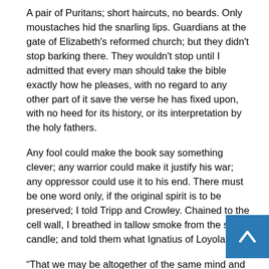A pair of Puritans; short haircuts, no beards. Only moustaches hid the snarling lips. Guardians at the gate of Elizabeth's reformed church; but they didn't stop barking there. They wouldn't stop until I admitted that every man should take the bible exactly how he pleases, with no regard to any other part of it save the verse he has fixed upon, with no heed for its history, or its interpretation by the holy fathers.
Any fool could make the book say something clever; any warrior could make it justify his war; any oppressor could use it to his end. There must be one word only, if the original spirit is to be preserved; I told Tripp and Crowley. Chained to the cell wall, I breathed in tallow smoke from the single candle; and told them what Ignatius of Loyola said:
“That we may be altogether of the same mind and in conformity … if the Holy See shall have defined anything to be black which to our eyes appears to be white, we ought in like manner to pronounce it to be black.” *